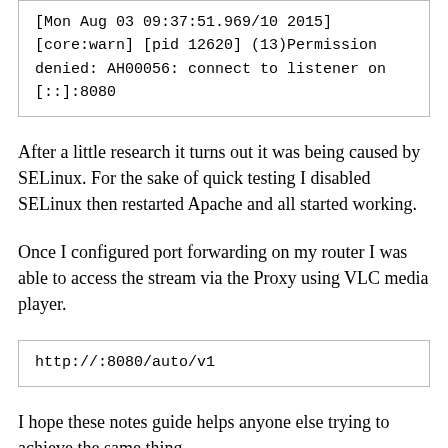[Figure (screenshot): Code block showing Apache error log entry: [Mon Aug 03 09:37:51.969/10 2015] [core:warn] [pid 12620] (13)Permission denied: AH00056: connect to listener on [::]:8080]
After a little research it turns out it was being caused by SELinux. For the sake of quick testing I disabled SELinux then restarted Apache and all started working.
Once I configured port forwarding on my router I was able to access the stream via the Proxy using VLC media player.
[Figure (screenshot): Code block showing URL: http://:8080/auto/v1]
I hope these notes guide helps anyone else trying to achieve the same thing.